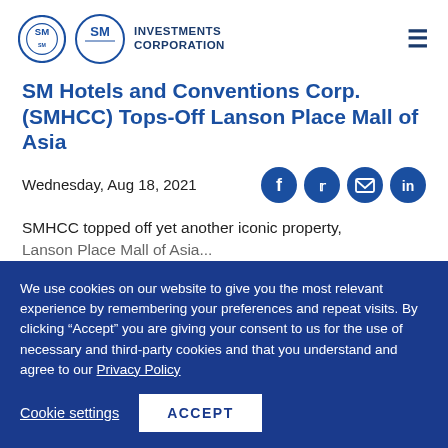SM Investments Corporation
SM Hotels and Conventions Corp. (SMHCC) Tops-Off Lanson Place Mall of Asia
Wednesday, Aug 18, 2021
SMHCC topped off yet another iconic property, Lanson Place Mall of Asia...
We use cookies on our website to give you the most relevant experience by remembering your preferences and repeat visits. By clicking “Accept” you are giving your consent to us for the use of necessary and third-party cookies and that you understand and agree to our Privacy Policy
Cookie settings  ACCEPT